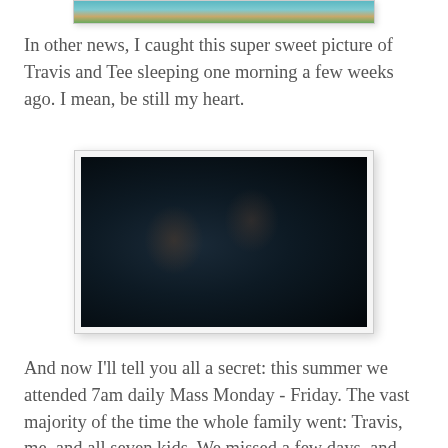[Figure (photo): Partial top of an outdoor photo showing blue sky and green/yellow landscape, cropped at top of page]
In other news, I caught this super sweet picture of Travis and Tee sleeping one morning a few weeks ago. I mean, be still my heart.
[Figure (photo): Dark, dimly lit photo of two people (Travis and Tee) sleeping together, a child resting against an adult]
And now I'll tell you all a secret: this summer we attended 7am daily Mass Monday - Friday. The vast majority of the time the whole family went: Travis, me, and all seven kids. We missed a few days, and occasionally some of us had to stay home but usually we were all there.